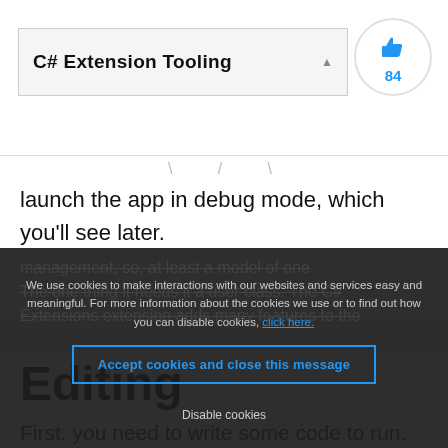C# Extension Tooling
launch the app in debug mode, which you'll see later.
Editing
First, you need to write some code to run. This extension adds many features to the
We use cookies to make interactions with our websites and services easy and meaningful. For more information about the cookies we use or to find out how you can disable cookies, click here. Accept cookies and close this message. Disable cookies.